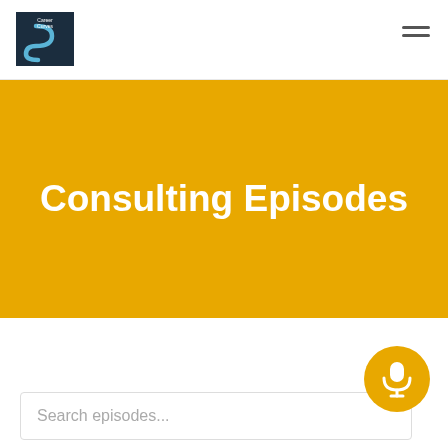[Figure (logo): Career Curves logo — dark navy square with stylized 'S' curve and text 'Career Curves']
[Figure (other): Hamburger menu icon (three horizontal lines) in top right corner]
Consulting Episodes
[Figure (other): Gold circular microphone button icon]
Search episodes...